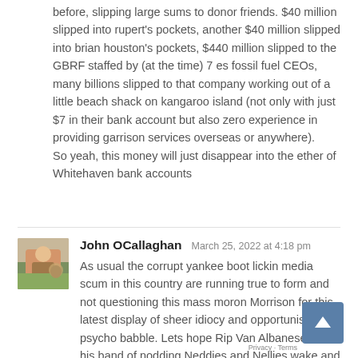before, slipping large sums to donor friends. $40 million slipped into rupert's pockets, another $40 million slipped into brian houston's pockets, $440 million slipped to the GBRF staffed by (at the time) 7 es fossil fuel CEOs, many billions slipped to that company working out of a little beach shack on kangaroo island (not only with just $7 in their bank account but also zero experience in providing garrison services overseas or anywhere). So yeah, this money will just disappear into the ether of Whitehaven bank accounts
John OCallaghan   March 25, 2022 at 4:18 pm
As usual the corrupt yankee boot lickin media scum in this country are running true to form and not questioning this mass moron Morrison for this latest display of sheer idiocy and opportunistic psycho babble. Lets hope Rip Van Albanese and his band of nodding Neddies and Nellies wake up and start at least to look as though they are attempting to hold this so called government to